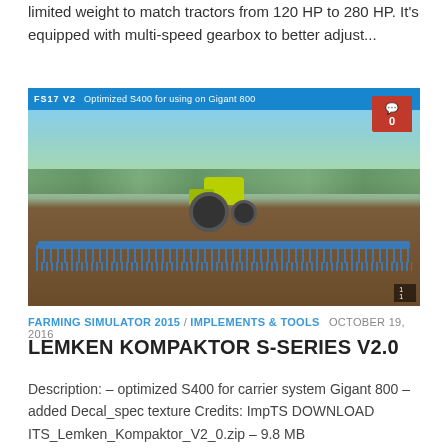limited weight to match tractors from 120 HP to 280 HP. It's equipped with multi-speed gearbox to better adjust...
[Figure (screenshot): Screenshot of a farming simulator game showing a large blue disc harrow/kompaktor implement being pulled by a yellow-green tractor across a brown field. A comment badge showing '0' is visible in the upper right corner.]
FARMING SIMULATOR 2015 / IMPLEMENTS & TOOLS  OCTOBER 19, 2016
LEMKEN KOMPAKTOR S-SERIES V2.0
Description: – optimized S400 for carrier system Gigant 800 – added Decal_spec texture Credits: ImpTS DOWNLOAD ITS_Lemken_Kompaktor_V2_0.zip – 9.8 MB